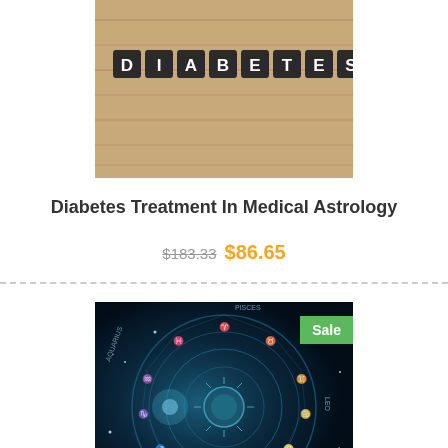[Figure (photo): Photo of letter tiles spelling DIABETES on a wooden surface]
Diabetes Treatment In Medical Astrology
$183.33 $86.65
[Figure (photo): Zodiac wheel/astrology chart with zodiac signs on a dark blue background, with a Sale badge in the top right corner]